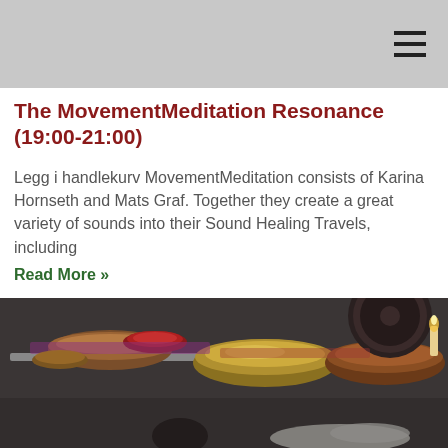The MovementMeditation Resonance (19:00-21:00)
Legg i handlekurv MovementMeditation consists of Karina Hornseth and Mats Graf. Together they create a great variety of sounds into their Sound Healing Travels, including
Read More »
[Figure (photo): A photograph showing a collection of singing bowls and other sound healing instruments arranged on a dark floor. Various bowls of different sizes and materials (metal and wooden) are visible, along with what appears to be a large gong in the background. In the foreground, a person is lying down on the floor.]